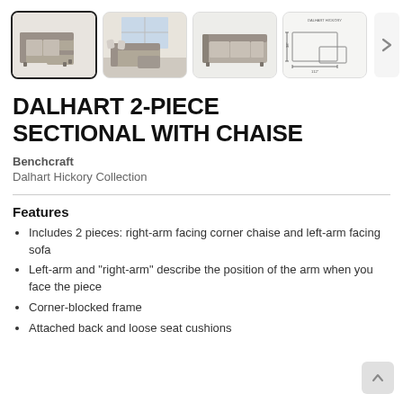[Figure (photo): Gallery of four product thumbnail images of the Dalhart 2-piece sectional sofa with chaise. First thumbnail selected (outlined in black): side view of gray sectional. Second: room setting with gray sectional. Third: front/side view of sectional. Fourth: technical dimension diagram. Navigation arrow visible on right.]
DALHART 2-PIECE SECTIONAL WITH CHAISE
Benchcraft
Dalhart Hickory Collection
Features
Includes 2 pieces: right-arm facing corner chaise and left-arm facing sofa
Left-arm and "right-arm" describe the position of the arm when you face the piece
Corner-blocked frame
Attached back and loose seat cushions